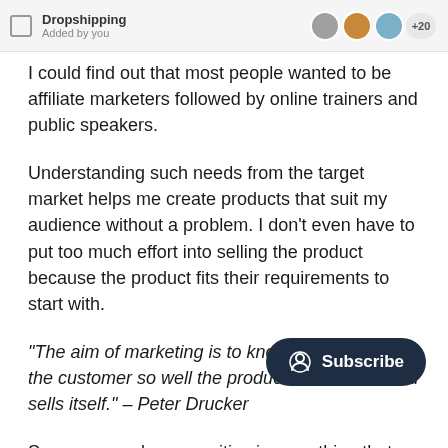[Figure (screenshot): UI element showing a list item labeled 'Dropshipping' with 'Added by you' subtitle, a checkbox, and avatar icons with +20 count]
I could find out that most people wanted to be affiliate marketers followed by online trainers and public speakers.
Understanding such needs from the target market helps me create products that suit my audience without a problem. I don't even have to put too much effort into selling the product because the product fits their requirements to start with.
“The aim of marketing is to know and understand the customer so well the product or and sells itself.” – Peter Drucker
So groups and communities is something that